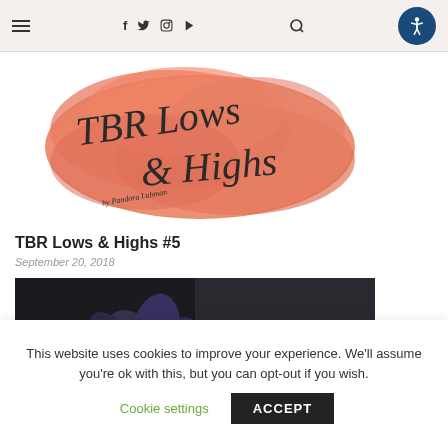Navigation bar with hamburger menu, social icons (f, twitter, instagram, youtube), search, and accessibility button
[Figure (illustration): TBR Lows & Highs calligraphy text on orange/coral watercolor paint splash background]
TBR Lows & Highs #5
September 20, 2018
[Figure (photo): Dark moody photograph of purple flowers on dark background]
This website uses cookies to improve your experience. We'll assume you're ok with this, but you can opt-out if you wish.
Cookie settings  ACCEPT